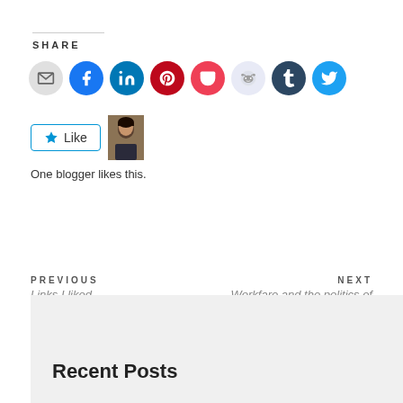SHARE
[Figure (infographic): Row of social media sharing icon buttons: Email (grey), Facebook (blue), LinkedIn (teal), Pinterest (red), Pocket (red), Reddit (light blue/grey), Tumblr (dark blue), Twitter (blue)]
[Figure (infographic): WordPress Like button with star icon and a blogger avatar thumbnail photo]
One blogger likes this.
PREVIOUS
Links I liked
NEXT
Workfare and the politics of dignity
Recent Posts